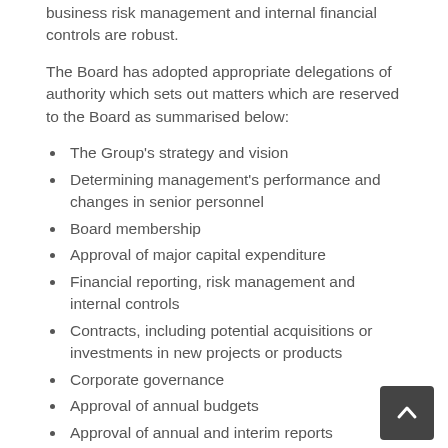business risk management and internal financial controls are robust.
The Board has adopted appropriate delegations of authority which sets out matters which are reserved to the Board as summarised below:
The Group's strategy and vision
Determining management's performance and changes in senior personnel
Board membership
Approval of major capital expenditure
Financial reporting, risk management and internal controls
Contracts, including potential acquisitions or investments in new projects or products
Corporate governance
Approval of annual budgets
Approval of annual and interim reports
Approval of changes in equity or debt